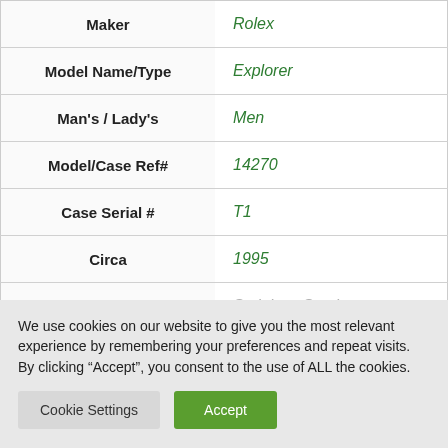| Field | Value |
| --- | --- |
| Maker | Rolex |
| Model Name/Type | Explorer |
| Man's / Lady's | Men |
| Model/Case Ref# | 14270 |
| Case Serial # | T1 |
| Circa | 1995 |
| Case Material | Stainless Steel |
We use cookies on our website to give you the most relevant experience by remembering your preferences and repeat visits. By clicking “Accept”, you consent to the use of ALL the cookies.